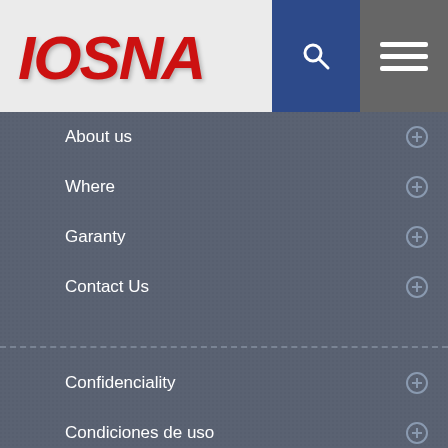[Figure (logo): IOSNA logo in red bold italic text on light gray header background]
About us
Where
Garanty
Contact Us
Confidenciality
Condiciones de uso
Gastos y condiciones de envio
PolÃ­tica de devoluciones
EXTRA
Create an Account
My Account